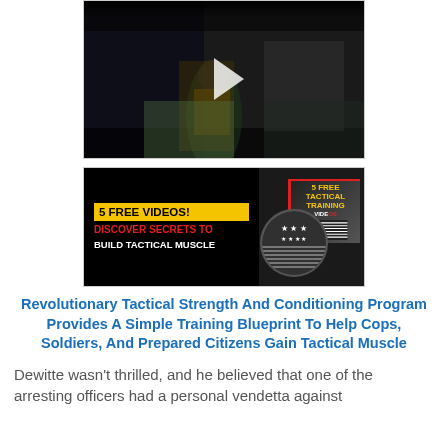[Figure (photo): Video thumbnail showing a night scene with a person standing next to a car, police officers visible, with a play button overlay indicating an embedded video player.]
[Figure (photo): Advertisement banner with black background reading '5 FREE VIDEOS! DISCOVER SECRETS TO BUILD TACTICAL MUSCLE' in yellow, red, and white text, with a tactical training image and a circular flag graphic on the right.]
Revolutionary Tactical Strength And Conditioning Program Provides A Simple Training Blueprint To Help Cops, Soldiers, And Prepared Citizens Gain Tactical Muscle
Dewitte wasn't thrilled, and he believed that one of the arresting officers had a personal vendetta against